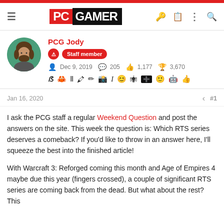PC GAMER
PCG Jody
Staff member
Dec 9, 2019  205  1,177  3,670
Jan 16, 2020  #1
I ask the PCG staff a regular Weekend Question and post the answers on the site. This week the question is: Which RTS series deserves a comeback? If you'd like to throw in an answer here, I'll squeeze the best into the finished article!

With Warcraft 3: Reforged coming this month and Age of Empires 4 maybe due this year (fingers crossed), a couple of significant RTS series are coming back from the dead. But what about the rest? This